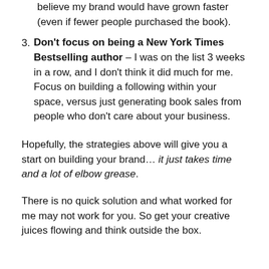believe my brand would have grown faster (even if fewer people purchased the book).
Don't focus on being a New York Times Bestselling author – I was on the list 3 weeks in a row, and I don't think it did much for me. Focus on building a following within your space, versus just generating book sales from people who don't care about your business.
Hopefully, the strategies above will give you a start on building your brand… it just takes time and a lot of elbow grease.
There is no quick solution and what worked for me may not work for you. So get your creative juices flowing and think outside the box.
Conclusion